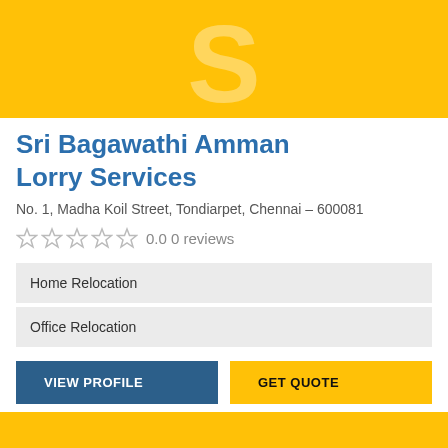[Figure (logo): Yellow banner with large semi-transparent white letter S in the center]
Sri Bagawathi Amman Lorry Services
No. 1, Madha Koil Street, Tondiarpet, Chennai – 600081
0.0 0 reviews
Home Relocation
Office Relocation
VIEW PROFILE
GET QUOTE
[Figure (other): Yellow banner strip at the bottom of the page]